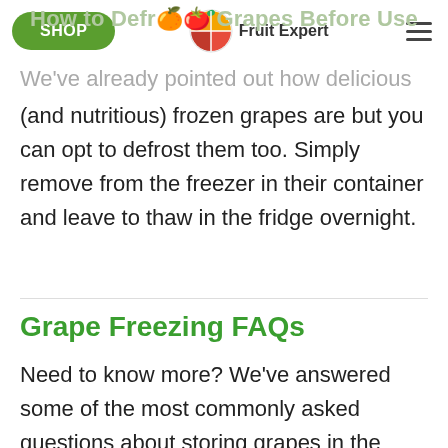Fruit Expert — SHOP navigation header
How to Defrost Grapes Before Use
We've already pointed out how delicious (and nutritious) frozen grapes are but you can opt to defrost them too. Simply remove from the freezer in their container and leave to thaw in the fridge overnight.
Grape Freezing FAQs
Need to know more? We've answered some of the most commonly asked questions about storing grapes in the home freezer.